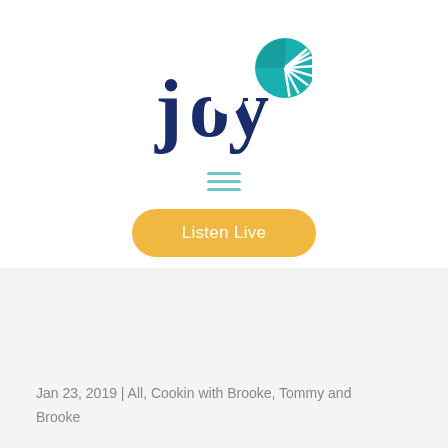[Figure (logo): Joy radio station logo — dark navy 'joy' wordmark with a teal circular starburst icon in the upper right]
[Figure (other): Hamburger menu icon — three horizontal teal lines]
[Figure (other): Yellow rounded pill button labeled 'Listen Live']
Jan 23, 2019 | All, Cookin with Brooke, Tommy and Brooke